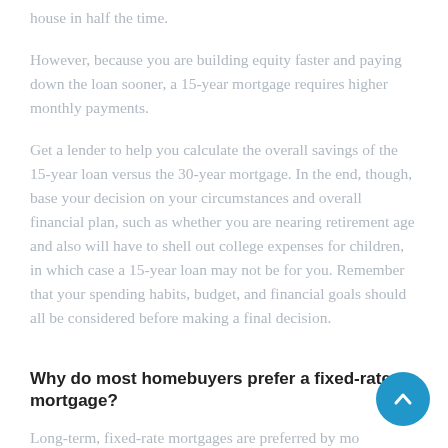house in half the time.
However, because you are building equity faster and paying down the loan sooner, a 15-year mortgage requires higher monthly payments.
Get a lender to help you calculate the overall savings of the 15-year loan versus the 30-year mortgage. In the end, though, base your decision on your circumstances and overall financial plan, such as whether you are nearing retirement age and also will have to shell out college expenses for children, in which case a 15-year loan may not be for you. Remember that your spending habits, budget, and financial goals should all be considered before making a final decision.
Why do most homebuyers prefer a fixed-rate mortgage?
Long-term, fixed-rate mortgages are preferred by most homebuyers because they offer security and stability.